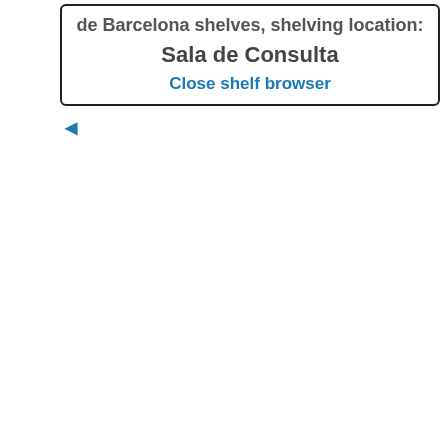de Barcelona shelves, shelving location: Sala de Consulta
Close shelf browser
Previous
◄